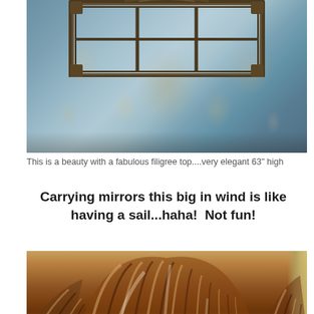[Figure (photo): Close-up photo of an ornate mirror with a decorative filigree/gilded frame top, leaning against a blue floral tapestry or patterned wallpaper/rug. The mirror frame appears dark bronze/gold colored.]
This is a beauty with a fabulous filigree top....very elegant 63" high
Carrying mirrors this big in wind is like having a sail...haha!  Not fun!
[Figure (photo): Close-up photo of brown and cream marbled ceramic or majolica decorative plates/dishes with scalloped, ribbed shell-like patterns. The pieces show a rich brown and white glaze with detailed ridged texture.]